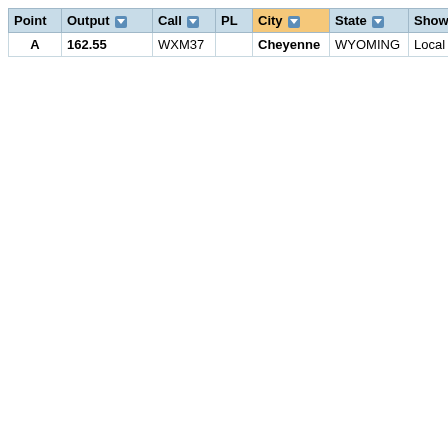| Point | Output | Call | PL | City | State | Show | Comments |
| --- | --- | --- | --- | --- | --- | --- | --- |
| A | 162.55 | WXM37 |  | Cheyenne | WYOMING | Local | NOAA Weather - Supplied by |